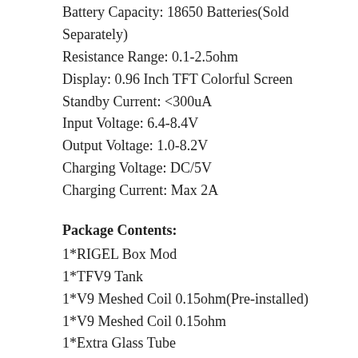Battery Capacity: 18650 Batteries(Sold Separately)
Resistance Range: 0.1-2.5ohm
Display: 0.96 Inch TFT Colorful Screen
Standby Current: <300uA
Input Voltage: 6.4-8.4V
Output Voltage: 1.0-8.2V
Charging Voltage: DC/5V
Charging Current: Max 2A
Package Contents:
1*RIGEL Box Mod
1*TFV9 Tank
1*V9 Meshed Coil 0.15ohm(Pre-installed)
1*V9 Meshed Coil 0.15ohm
1*Extra Glass Tube
1*Type-C Cable
1*User Manual
Review: